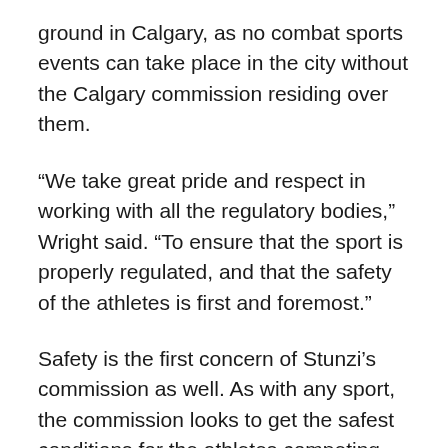ground in Calgary, as no combat sports events can take place in the city without the Calgary commission residing over them.
“We take great pride and respect in working with all the regulatory bodies,” Wright said. “To ensure that the sport is properly regulated, and that the safety of the athletes is first and foremost.”
Safety is the first concern of Stunzi’s commission as well. As with any sport, the commission looks to get the safest conditions for the athletes competing. No fights begin without a doctor at ringside in case of a serious injury and medicals are done after every fight.